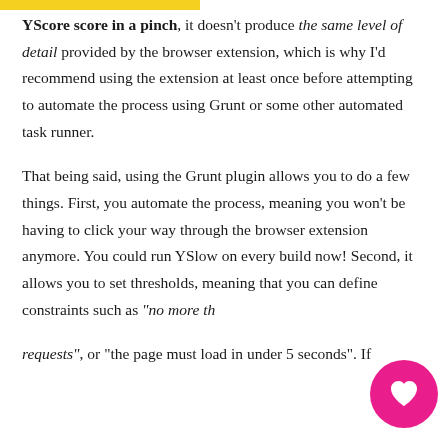YScore score in a pinch, it doesn't produce the same level of detail provided by the browser extension, which is why I'd recommend using the extension at least once before attempting to automate the process using Grunt or some other automated task runner.
That being said, using the Grunt plugin allows you to do a few things. First, you automate the process, meaning you won't be having to click your way through the browser extension anymore. You could run YSlow on every build now! Second, it allows you to set thresholds, meaning that you can define constraints such as "no more than X requests", or "the page must load in under 5 seconds". If